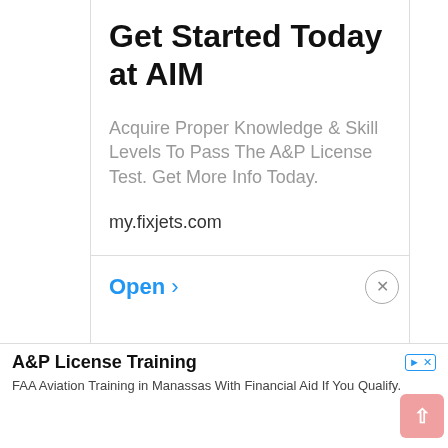Get Started Today at AIM
Acquire Proper Knowledge & Skill Levels To Pass The A&P License Test. Get More Info Today.
my.fixjets.com
Open >
A&P License Training
FAA Aviation Training in Manassas With Financial Aid If You Qualify.